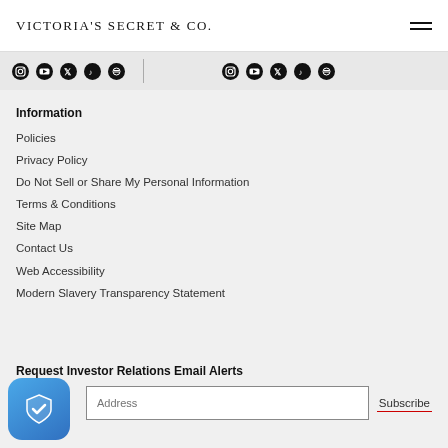Victoria's Secret & Co.
[Figure (infographic): Social media icons (Instagram, YouTube, Twitter, TikTok, Spotify) shown twice with divider lines]
Information
Policies
Privacy Policy
Do Not Sell or Share My Personal Information
Terms & Conditions
Site Map
Contact Us
Web Accessibility
Modern Slavery Transparency Statement
Request Investor Relations Email Alerts
Email Address